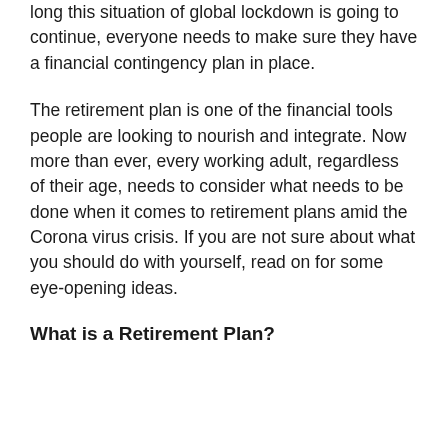long this situation of global lockdown is going to continue, everyone needs to make sure they have a financial contingency plan in place.
The retirement plan is one of the financial tools people are looking to nourish and integrate. Now more than ever, every working adult, regardless of their age, needs to consider what needs to be done when it comes to retirement plans amid the Corona virus crisis. If you are not sure about what you should do with yourself, read on for some eye-opening ideas.
What is a Retirement Plan?